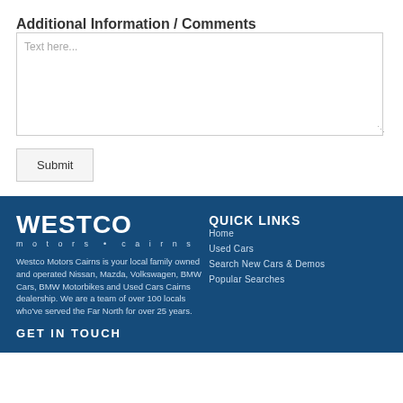Additional Information / Comments
Text here...
Submit
[Figure (logo): Westco Motors Cairns logo with text WESTCO in large white bold letters and 'motors • cairns' below]
Westco Motors Cairns is your local family owned and operated Nissan, Mazda, Volkswagen, BMW Cars, BMW Motorbikes and Used Cars Cairns dealership. We are a team of over 100 locals who've served the Far North for over 25 years.
GET IN TOUCH
QUICK LINKS
Home
Used Cars
Search New Cars & Demos
Popular Searches